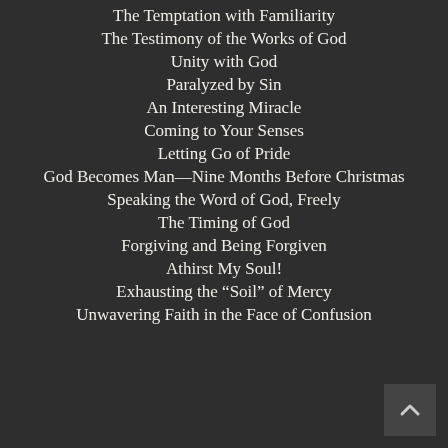The Temptation with Familiarity
The Testimony of the Works of God
Unity with God
Paralyzed by Sin
An Interesting Miracle
Coming to Your Senses
Letting Go of Pride
God Becomes Man—Nine Months Before Christmas
Speaking the Word of God, Freely
The Timing of God
Forgiving and Being Forgiven
Athirst My Soul!
Exhausting the “Soil” of Mercy
Unwavering Faith in the Face of Confusion